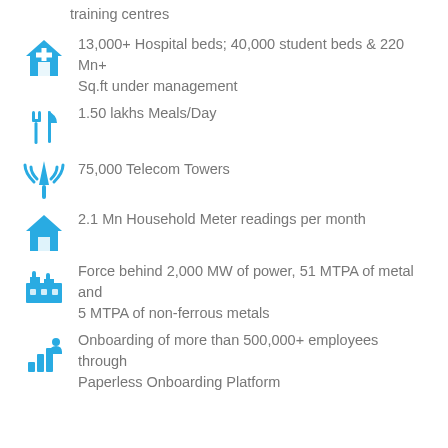training centres
13,000+ Hospital beds; 40,000 student beds & 220 Mn+ Sq.ft under management
1.50 lakhs Meals/Day
75,000 Telecom Towers
2.1 Mn Household Meter readings per month
Force behind 2,000 MW of power, 51 MTPA of metal and 5 MTPA of non-ferrous metals
Onboarding of more than 500,000+ employees through Paperless Onboarding Platform